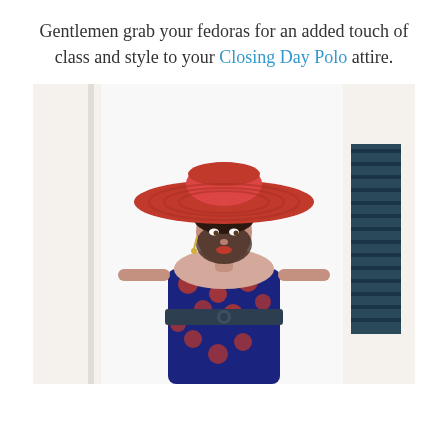Gentlemen grab your fedoras for an added touch of class and style to your Closing Day Polo attire.
[Figure (photo): A woman wearing a large wide-brim red straw hat and a red and navy floral strapless dress with a dark belt, standing outdoors near a white building.]